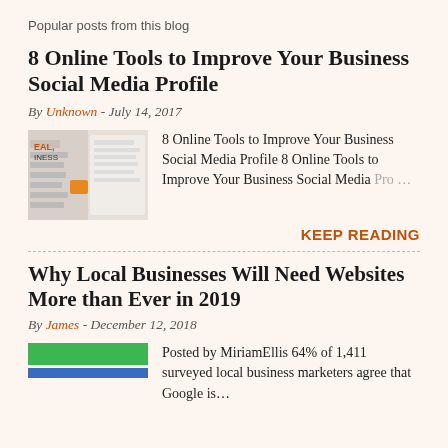Popular posts from this blog
8 Online Tools to Improve Your Business Social Media Profile
By Unknown - July 14, 2017
[Figure (screenshot): Thumbnail screenshot of a business social media webpage with orange and white elements]
8 Online Tools to Improve Your Business Social Media Profile 8 Online Tools to Improve Your Business Social Media Pro…
KEEP READING
Why Local Businesses Will Need Websites More than Ever in 2019
By James - December 12, 2018
[Figure (infographic): Green and blue horizontal bars representing survey data]
Posted by MiriamEllis 64% of 1,411 surveyed local business marketers agree that Google is…